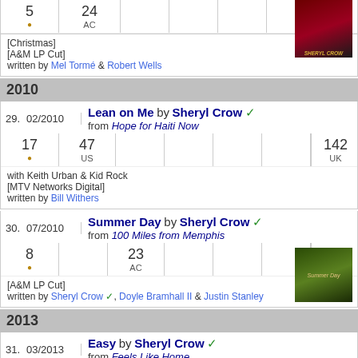| # | AC |
| --- | --- |
| 5 | 24 AC |
| • |  |
[Christmas]
[A&M LP Cut]
written by Mel Tormé & Robert Wells
2010
| 29. | 02/2010 | Lean on Me by Sheryl Crow | from Hope for Haiti Now |
| --- | --- | --- | --- |
| 17 • | 47 US |  |  |  |  | 142 UK |
with Keith Urban & Kid Rock
[MTV Networks Digital]
written by Bill Withers
| 30. | 07/2010 | Summer Day by Sheryl Crow | from 100 Miles from Memphis |
| --- | --- | --- | --- |
| 8 • |  | 23 AC |  |  |  | 149 UK |
[A&M LP Cut]
written by Sheryl Crow, Doyle Bramhall II & Justin Stanley
2013
| 31. | 03/2013 | Easy by Sheryl Crow | from Feels Like Home |
| --- | --- | --- | --- |
| 13 | 72 |  | 21 |  |  |  |